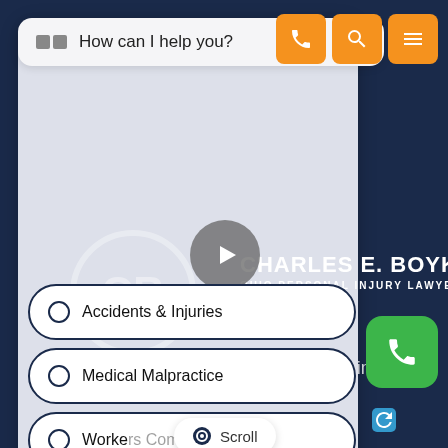[Figure (screenshot): Screenshot of Charles E. Boyk Ohio Personal Injury Lawyers website with a chatbot overlay panel. The panel shows 'How can I help you?' with radio button options: 'Accidents & Injuries', 'Medical Malpractice', and 'Worker[s Compensation]'. Orange navigation buttons (phone, search, menu) appear top right. A green phone button appears bottom right. The firm logo with 'CHARLES E. BOYK / OHIO PERSONAL INJURY LAWYERS' is visible on the dark navy background, along with partially visible text about 'Drunk Driving Accident Victims', 'ne Reason For A', and 'woman Crashing'. A 'Scroll' tooltip is visible at the bottom of the chat panel.]